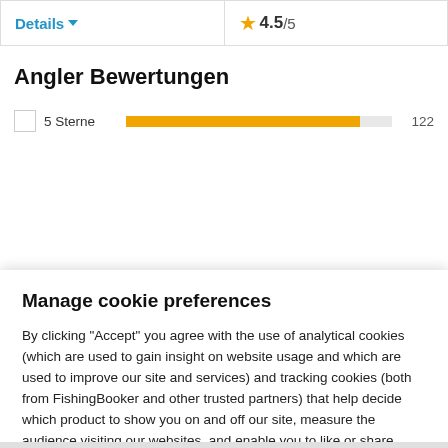Details ▾
★ 4.5/5
Angler Bewertungen
5 Sterne   [bar]   122
Manage cookie preferences
By clicking "Accept" you agree with the use of analytical cookies (which are used to gain insight on website usage and which are used to improve our site and services) and tracking cookies (both from FishingBooker and other trusted partners) that help decide which product to show you on and off our site, measure the audience visiting our websites, and enable you to like or share things directly on social media. By clicking here, you can manage your consent and find more information about the cookies we use.
Manage settings
Accept